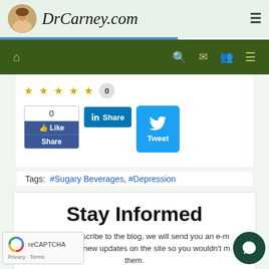DrCarney.com
[Figure (screenshot): Navigation bar with home, search, mail, user, and menu icons on dark green background]
[Figure (infographic): Star rating row showing 5 empty gold stars and a count of 0]
[Figure (infographic): Social sharing buttons: Facebook Like/Share (0), LinkedIn Share, Twitter Tweet]
Tags: #Sugary Beverages, #Depression
Stay Informed
hen you subscribe to the blog, we will send you an e-m en there are new updates on the site so you wouldn't m them.